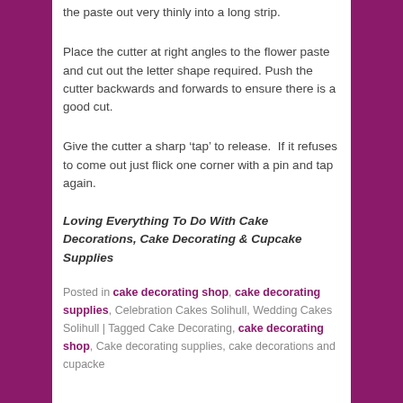the paste out very thinly into a long strip.
Place the cutter at right angles to the flower paste and cut out the letter shape required. Push the cutter backwards and forwards to ensure there is a good cut.
Give the cutter a sharp ‘tap’ to release.  If it refuses to come out just flick one corner with a pin and tap again.
Loving Everything To Do With Cake Decorations, Cake Decorating & Cupcake Supplies
Posted in cake decorating shop, cake decorating supplies, Celebration Cakes Solihull, Wedding Cakes Solihull | Tagged Cake Decorating, cake decorating shop, Cake decorating supplies, cake decorations and cupacke